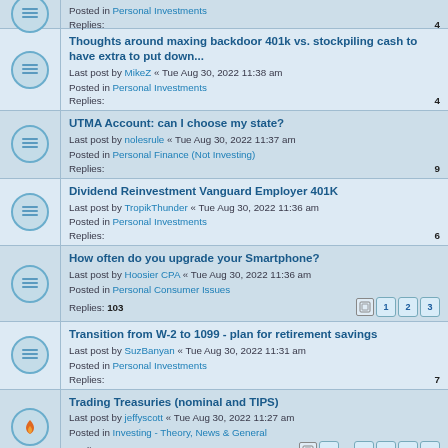Posted in Personal Investments
Replies: 4
Thoughts around maxing backdoor 401k vs. stockpiling cash to have extra to put down...
Last post by MikeZ « Tue Aug 30, 2022 11:38 am
Posted in Personal Investments
Replies: 4
UTMA Account: can I choose my state?
Last post by nolesrule « Tue Aug 30, 2022 11:37 am
Posted in Personal Finance (Not Investing)
Replies: 9
Dividend Reinvestment Vanguard Employer 401K
Last post by TropikThunder « Tue Aug 30, 2022 11:36 am
Posted in Personal Investments
Replies: 6
How often do you upgrade your Smartphone?
Last post by Hoosier CPA « Tue Aug 30, 2022 11:36 am
Posted in Personal Consumer Issues
Replies: 103
Transition from W-2 to 1099 - plan for retirement savings
Last post by SuzBanyan « Tue Aug 30, 2022 11:31 am
Posted in Personal Investments
Replies: 7
Trading Treasuries (nominal and TIPS)
Last post by jeffyscott « Tue Aug 30, 2022 11:27 am
Posted in Investing - Theory, News & General
Replies: 1325
Downsides to establishing a brokerage account?